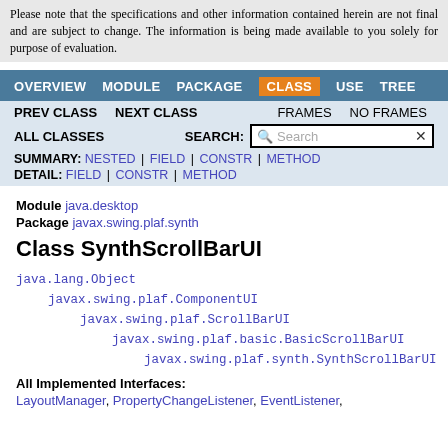Please note that the specifications and other information contained herein are not final and are subject to change. The information is being made available to you solely for purpose of evaluation.
OVERVIEW MODULE PACKAGE CLASS USE TREE
PREV CLASS NEXT CLASS FRAMES NO FRAMES
ALL CLASSES SEARCH:
SUMMARY: NESTED | FIELD | CONSTR | METHOD
DETAIL: FIELD | CONSTR | METHOD
Module java.desktop
Package javax.swing.plaf.synth
Class SynthScrollBarUI
java.lang.Object
    javax.swing.plaf.ComponentUI
        javax.swing.plaf.ScrollBarUI
            javax.swing.plaf.basic.BasicScrollBarUI
                javax.swing.plaf.synth.SynthScrollBarUI
All Implemented Interfaces:
LayoutManager, PropertyChangeListener, EventListener,